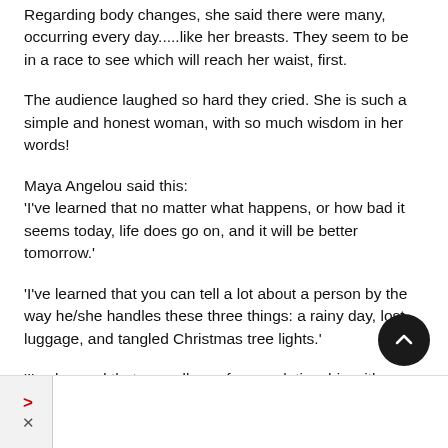Regarding body changes, she said there were many, occurring every day.....like her breasts. They seem to be in a race to see which will reach her waist, first.
The audience laughed so hard they cried. She is such a simple and honest woman, with so much wisdom in her words!
Maya Angelou said this:
'I've learned that no matter what happens, or how bad it seems today, life does go on, and it will be better tomorrow.'
'I've learned that you can tell a lot about a person by the way he/she handles these three things: a rainy day, lost luggage, and tangled Christmas tree lights.'
'I've learned that regardless of your relationship with your parents, you'll miss them when they're gone from your life.'